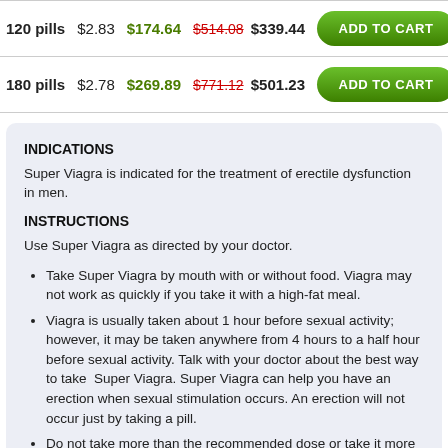| Pills | Per Pill | Savings | Price | Action |
| --- | --- | --- | --- | --- |
| 120 pills | $2.83 | $174.64 | $514.08 $339.44 | ADD TO CART |
| 180 pills | $2.78 | $269.89 | $771.12 $501.23 | ADD TO CART |
INDICATIONS
Super Viagra is indicated for the treatment of erectile dysfunction in men.
INSTRUCTIONS
Use Super Viagra as directed by your doctor.
Take Super Viagra by mouth with or without food. Viagra may not work as quickly if you take it with a high-fat meal.
Viagra is usually taken about 1 hour before sexual activity; however, it may be taken anywhere from 4 hours to a half hour before sexual activity. Talk with your doctor about the best way to take Super Viagra. Super Viagra can help you have an erection when sexual stimulation occurs. An erection will not occur just by taking a pill.
Do not take more than the recommended dose or take it more often than once daily, or as directed by your doctor.
If you miss a dose of Super Viagra and you still intend to engage in sexual activity, take it as soon as you remember.